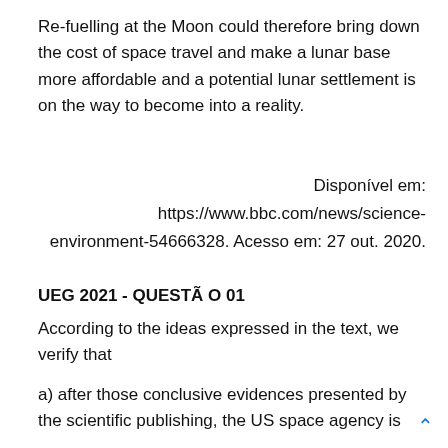Re-fuelling at the Moon could therefore bring down the cost of space travel and make a lunar base more affordable and a potential lunar settlement is on the way to become into a reality.
Disponível em: https://www.bbc.com/news/science-environment-54666328. Acesso em: 27 out. 2020.
UEG 2021 - QUESTÃO 01
According to the ideas expressed in the text, we verify that
a) after those conclusive evidences presented by the scientific publishing, the US space agency is